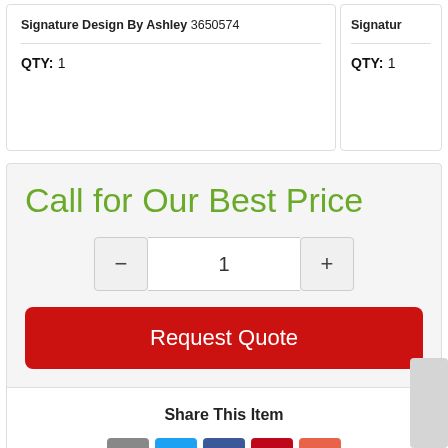Signature Design By Ashley 3650574
QTY: 1
Signatur…
QTY: 1
Call for Our Best Price
1
Request Quote
Share This Item